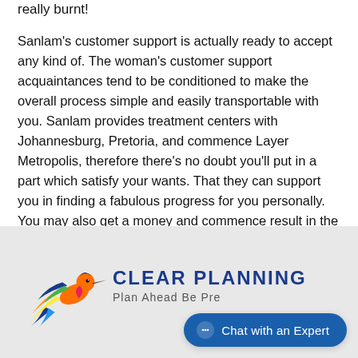really burnt!
Sanlam's customer support is actually ready to accept any kind of. The woman's customer support acquaintances tend to be conditioned to make the overall process simple and easily transportable with you. Sanlam provides treatment centers with Johannesburg, Pretoria, and commence Layer Metropolis, therefore there's no doubt you'll put in a part which satisfy your wants. That they can support you in finding a fabulous progress for you personally. You may also get a money and commence result in the much of your new business.
[Figure (logo): Clear Planning logo with a colorful hummingbird and text 'CLEAR PLANNING Plan Ahead Be Pre...']
Chat with an Expert